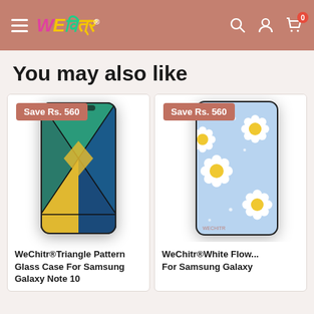WeChitr® — navigation header with hamburger menu, logo, search, account, and cart (0 items)
You may also like
[Figure (photo): Product card: WeChitr® Triangle Pattern Glass Case For Samsung Galaxy Note 10, showing phone with geometric teal/gold/blue triangle pattern. Save badge: Save Rs. 560]
WeChitr®Triangle Pattern Glass Case For Samsung Galaxy Note 10
[Figure (photo): Product card: WeChitr® White Flower Case For Samsung Galaxy (partially visible), showing phone with white daisy pattern on light blue background. Save badge: Save Rs. 560]
WeChitr®White Flow... For Samsung Galaxy